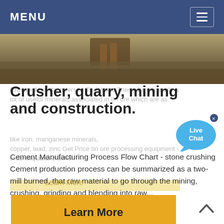MENU
[Figure (photo): Industrial/mining equipment photo, brown and grey tones, showing a metal frame or crusher machinery]
Zinc Ore Crusher Manufacturers Price Tin Ore Crusher | Crusher Manufacturers In The World There are generally a lot of useful minerals associated in tin ore which are as
Crusher, quarry, mining and construction.
like iron, manganese minerals, copper, lead, zinc Get Price tin ore processing equipment - crusherquartz-crusher.
Cement Manufacturing Process Flow Chart - stone crushing Cement production process can be summarized as a two- mill burned, that raw material to go through the mining, crushing, grinding and blending into raw...
Learn More